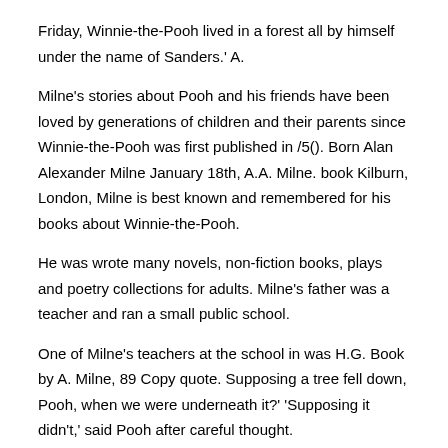Friday, Winnie-the-Pooh lived in a forest all by himself under the name of Sanders.' A.
Milne's stories about Pooh and his friends have been loved by generations of children and their parents since Winnie-the-Pooh was first published in /5(). Born Alan Alexander Milne January 18th, A.A. Milne. book Kilburn, London, Milne is best known and remembered for his books about Winnie-the-Pooh.
He was wrote many novels, non-fiction books, plays and poetry collections for adults. Milne's father was a teacher and ran a small public school.
One of Milne's teachers at the school in was H.G. Book by A. Milne, 89 Copy quote. Supposing a tree fell down, Pooh, when we were underneath it?' 'Supposing it didn't,' said Pooh after careful thought.
Piglet was comforted by this. Milne. Supposing That, Tree, Piglet. Milne, George, Milne, A. (Alan Alexander), Shepard, Ernest H. "The World of Pooh: the Complete. Winnie-the-Pooh was shortly followed by The House at Pooh Corner, also by Milne.